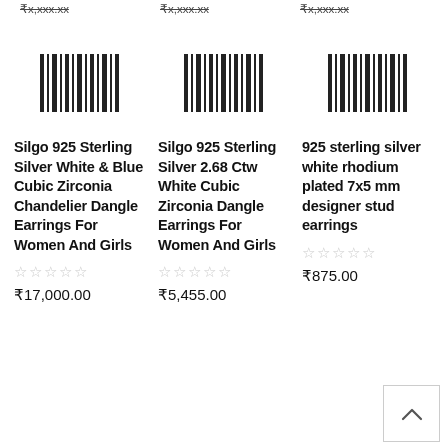₹x,xxx.xx | ₹x,xxx.xx | ₹x,xxx.xx (truncated top prices)
[Figure (illustration): Barcode placeholder icon - column 1]
[Figure (illustration): Barcode placeholder icon - column 2]
[Figure (illustration): Barcode placeholder icon - column 3]
Silgo 925 Sterling Silver White & Blue Cubic Zirconia Chandelier Dangle Earrings For Women And Girls
Silgo 925 Sterling Silver 2.68 Ctw White Cubic Zirconia Dangle Earrings For Women And Girls
925 sterling silver white rhodium plated 7x5 mm designer stud earrings
★★★★★
★★★★★
★★★★★
₹17,000.00
₹5,455.00
₹875.00